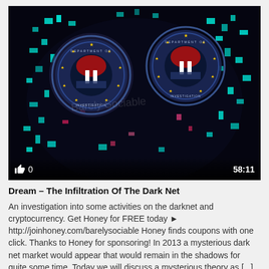[Figure (screenshot): Video thumbnail showing a dark artistic image with two FBI seal emblems styled as eyes on a dark face, with cyan/teal pixel-art fragments scattered around. A pause icon is visible on each seal. Bottom-left shows a thumbs-up icon and '0', bottom-right shows duration '58:11'.]
Dream – The Infiltration Of The Dark Net
An investigation into some activities on the darknet and cryptocurrency. Get Honey for FREE today ► http://joinhoney.com/barelysociable Honey finds coupons with one click. Thanks to Honey for sponsoring! In 2013 a mysterious dark net market would appear that would remain in the shadows for quite some time. Today we will discuss a mysterious theory as [...]